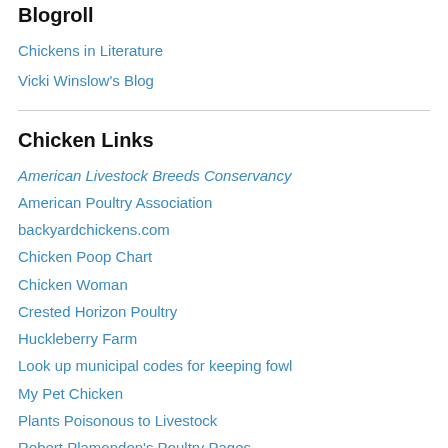Blogroll
Chickens in Literature
Vicki Winslow's Blog
Chicken Links
American Livestock Breeds Conservancy
American Poultry Association
backyardchickens.com
Chicken Poop Chart
Chicken Woman
Crested Horizon Poultry
Huckleberry Farm
Look up municipal codes for keeping fowl
My Pet Chicken
Plants Poisonous to Livestock
Robert Plamondon's Poultry Pages
Some chicken facts and statistics
United Poultry Concerns